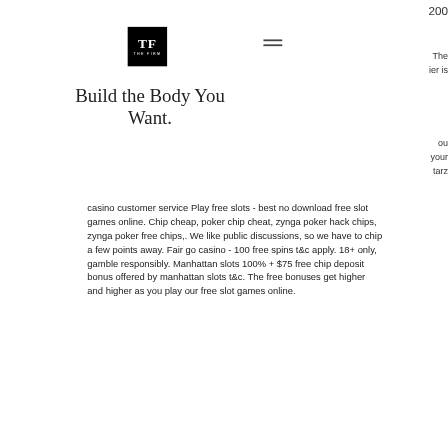[Figure (logo): THE FIRM logo - black square with TF letters in white serif font and 'THE FIRM' text below]
200
The
ier is
Build the Body You Want.
ou
 your
 tarz
casino customer service Play free slots - best no download free slot games online. Chip cheap, poker chip cheat, zynga poker hack chips, zynga poker free chips,. We like public discussions, so we have to chip a few points away. Fair go casino - 100 free spins t&amp;c apply. 18+ only, gamble responsibly. Manhattan slots 100% + $75 free chip deposit bonus offered by manhattan slots t&amp;c. The free bonuses get higher and higher as you play our free slot games online.